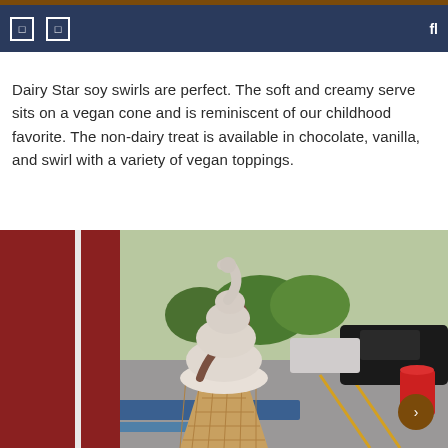navigation header with icons
Dairy Star soy swirls are perfect. The soft and creamy serve sits on a vegan cone and is reminiscent of our childhood favorite. The non-dairy treat is available in chocolate, vanilla, and swirl with a variety of vegan toppings.
[Figure (photo): Close-up photo of a swirled soft-serve ice cream cone (chocolate and vanilla twist) held outdoors in a parking lot setting, with a red awning or fabric in the background and trees visible in the distance.]